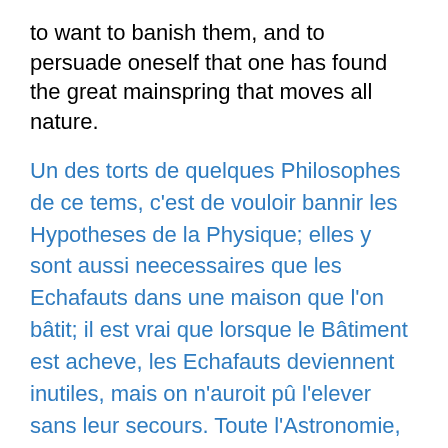to want to banish them, and to persuade oneself that one has found the great mainspring that moves all nature.
Un des torts de quelques Philosophes de ce tems, c'est de vouloir bannir les Hypotheses de la Physique; elles y sont aussi neecessaires que les Echafauts dans une maison que l'on bâtit; il est vrai que lorsque le Bâtiment est acheve, les Echafauts deviennent inutiles, mais on n'auroit pû l'elever sans leur secours. Toute l'Astronomie, par Exemple, n'est fondee que sur des Hypotheses, & si on les avoit toujours évitées en Physique, il y a apparence qu'on n'auroit pas fait tant de decouvertes; aussi rien n'est-il plus capable de retarder les progres des Sciences que de vouloir les en bannir, & de se